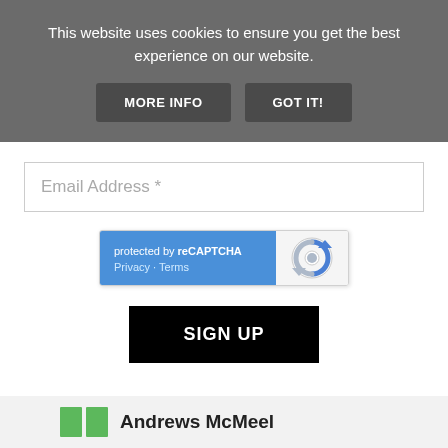This website uses cookies to ensure you get the best experience on our website.
MORE INFO
GOT IT!
Email Address *
[Figure (logo): reCAPTCHA widget with blue left panel showing 'protected by reCAPTCHA' and 'Privacy - Terms', and gray right panel with reCAPTCHA logo]
SIGN UP
[Figure (logo): Andrews McMeel logo with two green rectangular boxes and company name text]